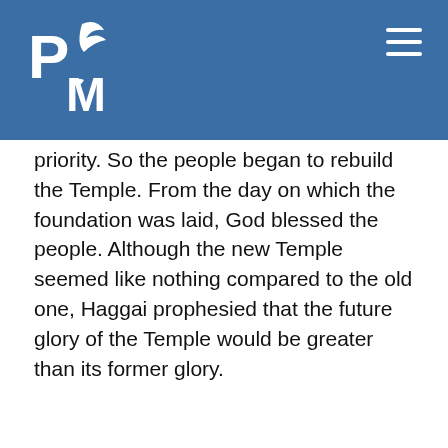[Figure (logo): PM logo with dove/leaf icon in white on blue background, top left of header bar]
priority. So the people began to rebuild the Temple. From the day on which the foundation was laid, God blessed the people. Although the new Temple seemed like nothing compared to the old one, Haggai prophesied that the future glory of the Temple would be greater than its former glory.
| Key word | REBUILD |
| --- | --- |